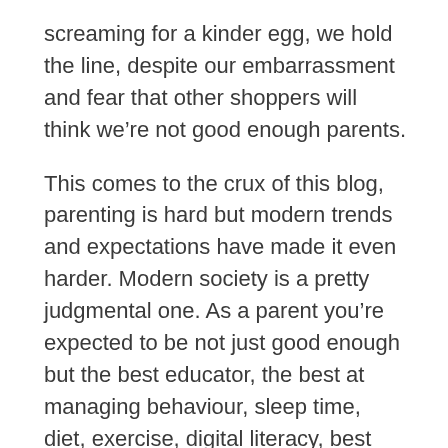screaming for a kinder egg, we hold the line, despite our embarrassment and fear that other shoppers will think we're not good enough parents.
This comes to the crux of this blog, parenting is hard but modern trends and expectations have made it even harder. Modern society is a pretty judgmental one. As a parent you're expected to be not just good enough but the best educator, the best at managing behaviour, sleep time, diet, exercise, digital literacy, best taxi driver, best emotional coach and if you're not then you're failing as a parent. This is on top of many working 40 hours a week, trying to (& mostly failing) to stop your home from looking like an atomic bomb has hit it. How many of you have tidied one room and while you do that the little terrors have